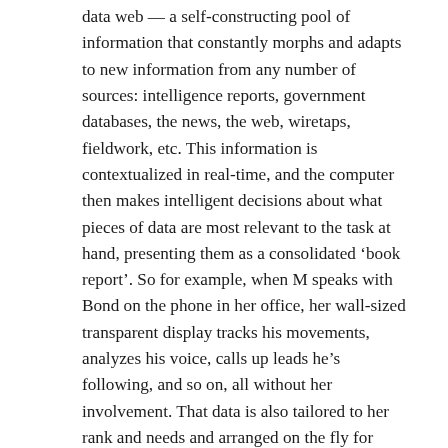data web — a self-constructing pool of information that constantly morphs and adapts to new information from any number of sources: intelligence reports, government databases, the news, the web, wiretaps, fieldwork, etc. This information is contextualized in real-time, and the computer then makes intelligent decisions about what pieces of data are most relevant to the task at hand, presenting them as a consolidated 'book report'. So for example, when M speaks with Bond on the phone in her office, her wall-sized transparent display tracks his movements, analyzes his voice, calls up leads he's following, and so on, all without her involvement. That data is also tailored to her rank and needs and arranged on the fly for quick consumption.